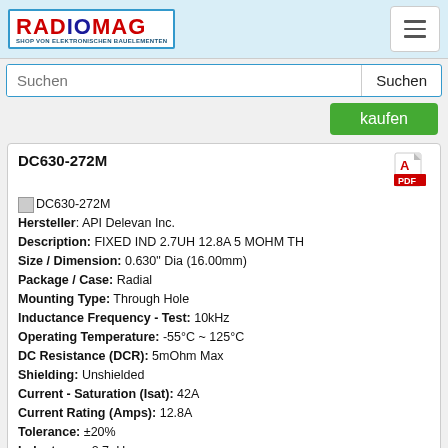[Figure (logo): RADIOMAG logo - shop for electronic components, blue border, red and blue lettering]
Suchen
kaufen
DC630-272M
Hersteller: API Delevan Inc.
Description: FIXED IND 2.7UH 12.8A 5 MOHM TH
Size / Dimension: 0.630" Dia (16.00mm)
Package / Case: Radial
Mounting Type: Through Hole
Inductance Frequency - Test: 10kHz
Operating Temperature: -55°C ~ 125°C
DC Resistance (DCR): 5mOhm Max
Shielding: Unshielded
Current - Saturation (Isat): 42A
Current Rating (Amps): 12.8A
Tolerance: ±20%
Inductance: 2.7µH
Type: Wirewound
Height - Seated (Max): 0.830" (21.08mm)
auf Bestellung 4 Stücke 🚚
Lieferzeit 21-28 Tag (e)